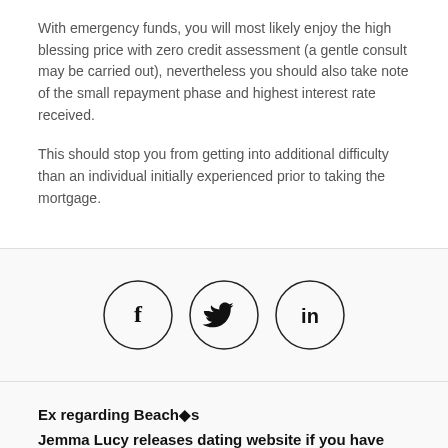With emergency funds, you will most likely enjoy the high blessing price with zero credit assessment (a gentle consult may be carried out), nevertheless you should also take note of the small repayment phase and highest interest rate received.
This should stop you from getting into additional difficulty than an individual initially experienced prior to taking the mortgage.
[Figure (infographic): Three circular social media icon buttons: Facebook (f), Twitter (bird), LinkedIn (in)]
Ex regarding Beach�s
Jemma Lucy releases dating website if you have tattoos
On The Web Hookup Places 2021. When looking for